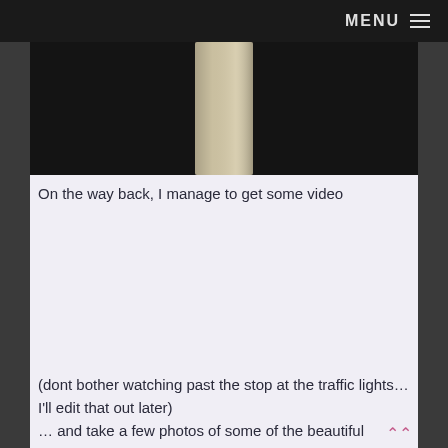MENU
[Figure (photo): Close-up photograph of a dark road surface with a white lane marking stripe visible in the center]
On the way back, I manage to get some video
[Figure (other): Embedded video player area (blank/white space)]
(dont bother watching past the stop at the traffic lights… I'll edit that out later)
… and take a few photos of some of the beautiful homes